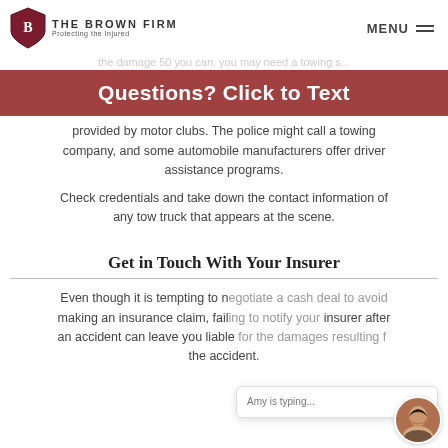THE BROWN FIRM — Protecting the Injured | MENU
Questions? Click to Text
provided by motor clubs. The police might call a towing company, and some automobile manufacturers offer driver assistance programs.
Check credentials and take down the contact information of any tow truck that appears at the scene.
Get in Touch With Your Insurer
Even though it is tempting to negotiate a cash deal to avoid making an insurance claim, failing to notify your insurer after an accident can leave you liable for the damages resulting from the accident.